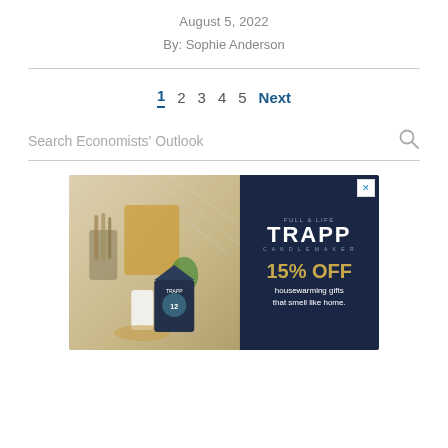August 5, 2022
By: Sophie Anderson
1   2   3   4   5   Next
Search Economists' Outlook
[Figure (photo): Trapp candle advertisement showing kitchen scene with candles and box on left, dark navy right side with TRAPP logo, 15% OFF housewarming gifts that smell like home.]